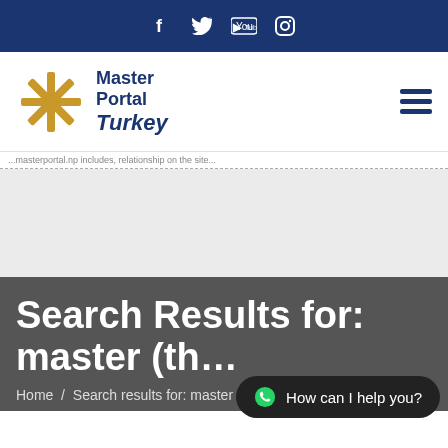Social media icons: Facebook, Twitter, YouTube, Instagram
[Figure (logo): Master Portal Turkey logo with gold snowflake/asterisk icon and blue text]
...masterportal.np includes, relationship on the site...
Search Results for: master (thesis)
Home / Search results for: master (thesis) / Page 10
How can I help you?